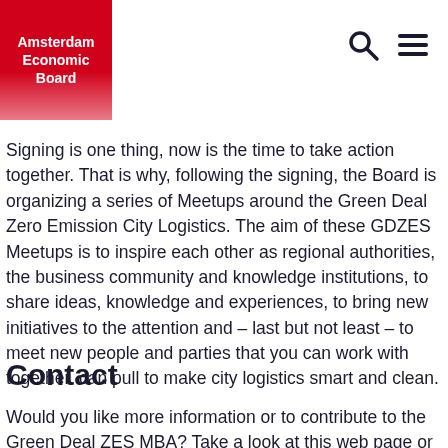Amsterdam Economic Board
Signing is one thing, now is the time to take action together. That is why, following the signing, the Board is organizing a series of Meetups around the Green Deal Zero Emission City Logistics. The aim of these GDZES Meetups is to inspire each other as regional authorities, the business community and knowledge institutions, to share ideas, knowledge and experiences, to bring new initiatives to the attention and – last but not least – to meet new people and parties that you can work with together. can pull to make city logistics smart and clean.
Contact
Would you like more information or to contribute to the Green Deal ZES MBA? Take a look at this web page or